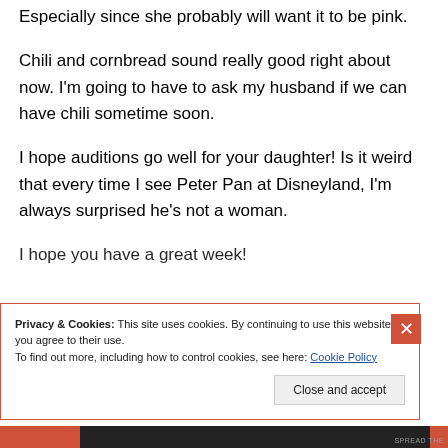Especially since she probably will want it to be pink.
Chili and cornbread sound really good right about now. I'm going to have to ask my husband if we can have chili sometime soon.
I hope auditions go well for your daughter! Is it weird that every time I see Peter Pan at Disneyland, I'm always surprised he's not a woman.
I hope you have a great week!
Privacy & Cookies: This site uses cookies. By continuing to use this website, you agree to their use.
To find out more, including how to control cookies, see here: Cookie Policy